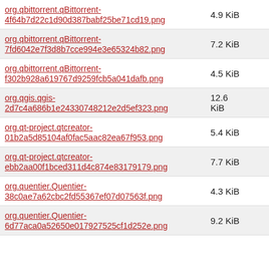| Filename | Size |
| --- | --- |
| org.qbittorrent.qBittorrent-4f64b7d22c1d90d387babf25be71cd19.png | 4.9 KiB |
| org.qbittorrent.qBittorrent-7fd6042e7f3d8b7cce994e3e65324b82.png | 7.2 KiB |
| org.qbittorrent.qBittorrent-f302b928a619767d9259fcb5a041dafb.png | 4.5 KiB |
| org.qgis.qgis-2d7c4a686b1e24330748212e2d5ef323.png | 12.6 KiB |
| org.qt-project.qtcreator-01b2a5d85104af0fac5aac82ea67f953.png | 5.4 KiB |
| org.qt-project.qtcreator-ebb2aa00f1bced311d4c874e83179179.png | 7.7 KiB |
| org.quentier.Quentier-38c0ae7a62cbc2fd55367ef07d07563f.png | 4.3 KiB |
| org.quentier.Quentier-6d77aca0a52650e017927525cf1d252e.png | 9.2 KiB |